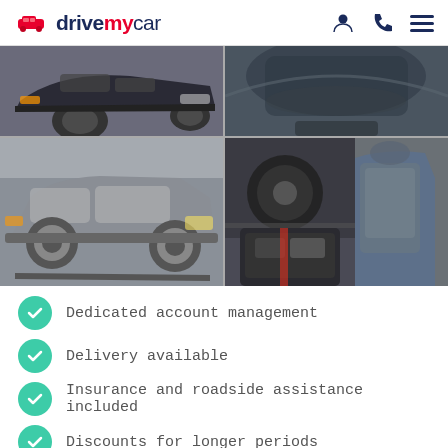drivemycar
[Figure (photo): Grid of four car photos: top-left shows front of a dark sports car, top-right shows hood/roof of a dark car, bottom-left shows a silver SUV side view, bottom-right shows interior of a car with leather seats]
Dedicated account management
Delivery available
Insurance and roadside assistance included
Discounts for longer periods